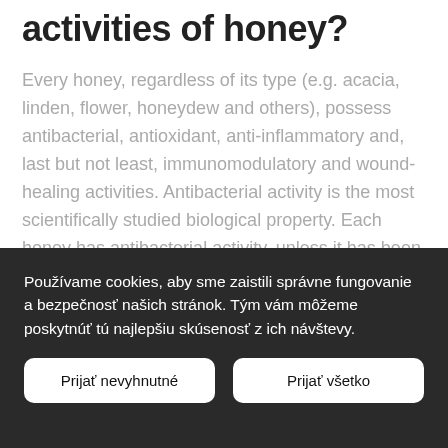activities of honey?
Every honey, regardless of its type (e.g. acacia, linden, flower, honeydew and others), possess antibacterial, antioxidant, anti-inflammatory and, last but not least, immunomodulatory and wound-healing activities. Antibacterial activity is the most scientifically studied biological property. Each honey has antibacterial activity, unless it has been reduced or completely lost by improper handling, inappropriate heat treatment, etc.
Používame cookies, aby sme zaistili správne fungovanie a bezpečnosť našich stránok. Tým vám môžeme poskytnúť tú najlepšiu skúsenosť z ich návštevy.
Prijať nevyhnutné
Prijať všetko